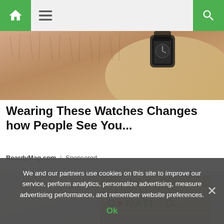Navigation bar with home, menu, and search icons
[Figure (photo): Close-up photo of a bearded person's wrist wearing a watch, with sandy background]
Wearing These Watches Changes how People See You...
BeardyMag.com | Sponsored
[Figure (photo): Photo of a hand holding a cardboard donation box with text 'DONATIO...' written on it]
We and our partners use cookies on this site to improve our service, perform analytics, personalize advertising, measure advertising performance, and remember website preferences.
Ok